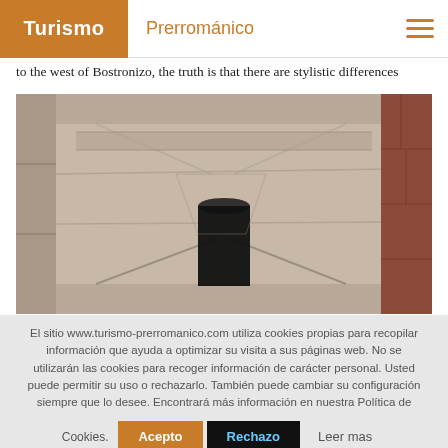Turismo Prerrománico
to the west of Bostronizo, the truth is that there are stylistic differences
[Figure (photo): Close-up photograph of ancient stone masonry showing a keyhole or window opening carved through a large stone block, with rough stone walls on either side.]
El sitio www.turismo-prerromanico.com utiliza cookies propias para recopilar información que ayuda a optimizar su visita a sus páginas web. No se utilizarán las cookies para recoger información de carácter personal. Usted puede permitir su uso o rechazarlo. También puede cambiar su configuración siempre que lo desee. Encontrará más información en nuestra Política de Cookies.
Acepto  Rechazo  Leer mas